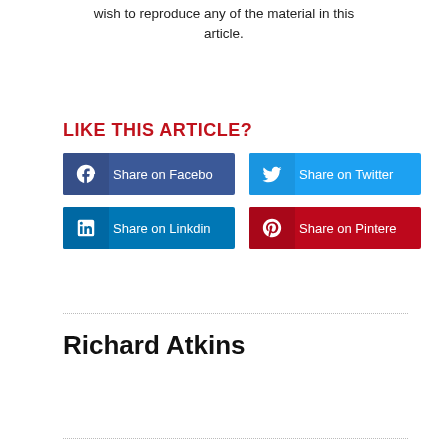wish to reproduce any of the material in this article.
LIKE THIS ARTICLE?
[Figure (other): Four social share buttons: Share on Facebook (blue), Share on Twitter (light blue), Share on Linkdin (dark blue), Share on Pinterest (red)]
Richard Atkins